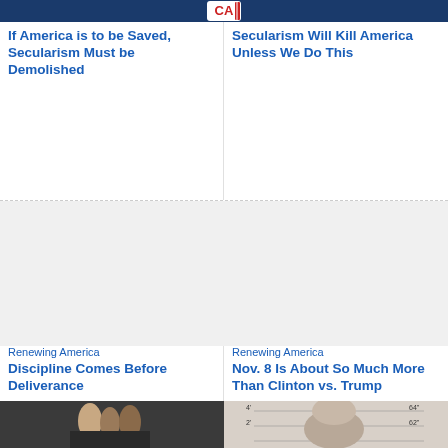[Figure (logo): Website header logo with CA text in red/white/blue]
If America is to be Saved, Secularism Must be Demolished
Secularism Will Kill America Unless We Do This
[Figure (photo): Blank image placeholder left]
[Figure (photo): Blank image placeholder right]
Renewing America
Discipline Comes Before Deliverance
Renewing America
Nov. 8 Is About So Much More Than Clinton vs. Trump
[Figure (photo): Photo of wedding cake toppers]
[Figure (photo): Mugshot style photo of a woman]